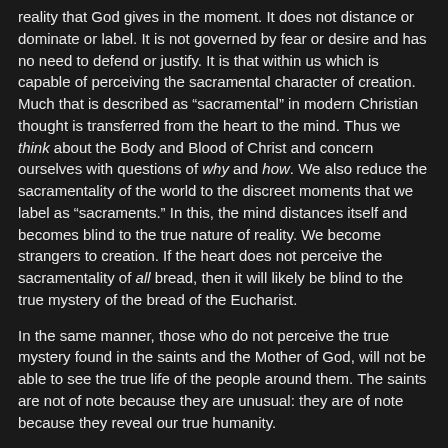reality that God gives in the moment. It does not distance or dominate or label. It is not governed by fear or desire and has no need to defend or justify. It is that within us which is capable of perceiving the sacramental character of creation. Much that is described as “sacramental” in modern Christian thought is transferred from the heart to the mind. Thus we think about the Body and Blood of Christ and concern ourselves with questions of why and how. We also reduce the sacramentality of the world to the discreet moments that we label as “sacraments.” In this, the mind distances itself and becomes blind to the true nature of reality. We become strangers to creation. If the heart does not perceive the sacramentality of all bread, then it will likely be blind to the true mystery of the bread of the Eucharist.
In the same manner, those who do not perceive the true mystery found in the saints and the Mother of God, will not be able to see the true life of the people around them. The saints are not of note because they are unusual: they are of note because they reveal our true humanity.
The disciples began their ministries in a state of delusion and blindness. They ate many meals with Christ in which He “took, blessed, broke and gave” them bread. They were given the Eucharistic life. They would later remember both the Eucharistic feeding of the 5,000 as well as the